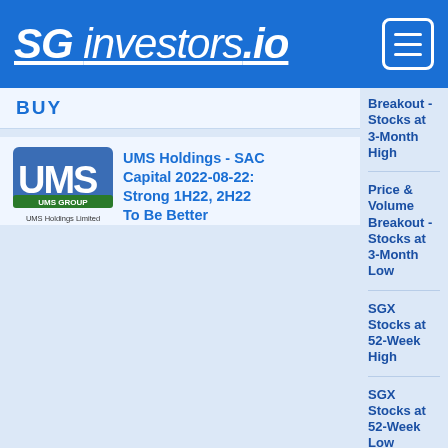SG investors.io
BUY
[Figure (logo): UMS Group / UMS Holdings Limited logo]
UMS Holdings - SAC Capital 2022-08-22: Strong 1H22, 2H22 To Be Better
Breakout - Stocks at 3-Month High
Price & Volume Breakout - Stocks at 3-Month Low
SGX Stocks at 52-Week High
SGX Stocks at 52-Week Low
Market Updates By SGX My Gateway